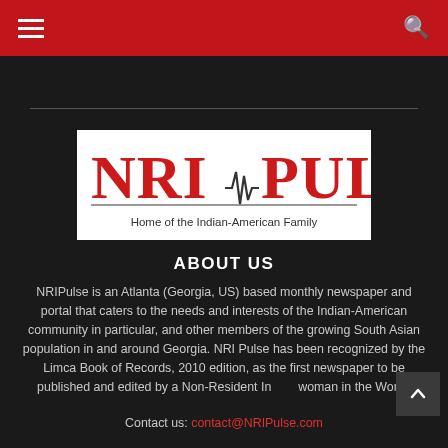NRI Pulse navigation bar with hamburger menu and search icon
[Figure (logo): NRI Pulse logo — red serif text 'NRI PULSE' with a heartbeat/pulse line graphic and tagline 'Home of the Indian-American Family' on white background]
ABOUT US
NRIPulse is an Atlanta (Georgia, US) based monthly newspaper and portal that caters to the needs and interests of the Indian-American community in particular, and other members of the growing South Asian population in and around Georgia. NRI Pulse has been recognized by the Limca Book of Records, 2010 edition, as the first newspaper to be published and edited by a Non-Resident Indian woman in the World!
Contact us: contact@NRIPulse.com